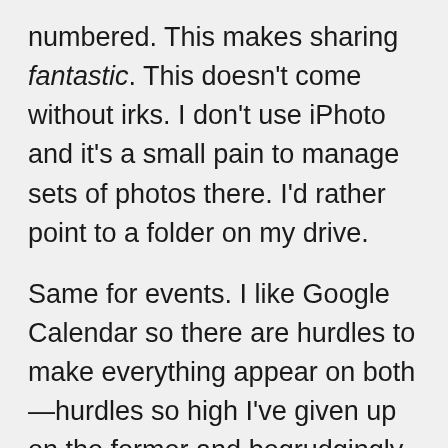numbered. This makes sharing fantastic. This doesn't come without irks. I don't use iPhoto and it's a small pain to manage sets of photos there. I'd rather point to a folder on my drive.
Same for events. I like Google Calendar so there are hurdles to make everything appear on both—hurdles so high I've given up on the former and begrudgingly use iCal.
Those and minor quirks aside, I am smitten.
So much I wish the next version of OSX took cues from the interface and stopped with the